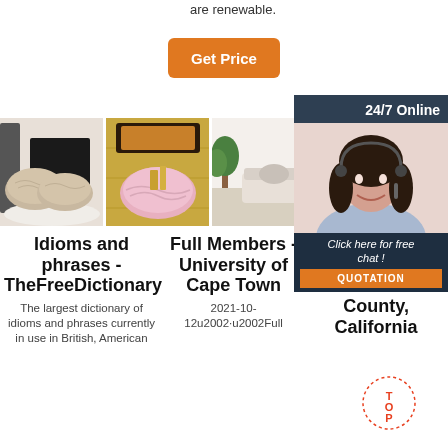are renewable.
[Figure (other): Orange 'Get Price' button]
[Figure (other): 24/7 Online chat box with female customer service agent photo, 'Click here for free chat!' text, and QUOTATION button]
[Figure (photo): Three product images: fluffy pillows on chair, pink fluffy rug on floor, and a room interior]
Idioms and phrases - TheFreeDictionary
The largest dictionary of idioms and phrases currently in use in British, American
Full Members - University of Cape Town
2021-10-12u2002·u2002Full
Company Look-Up - San Bernardino County, California